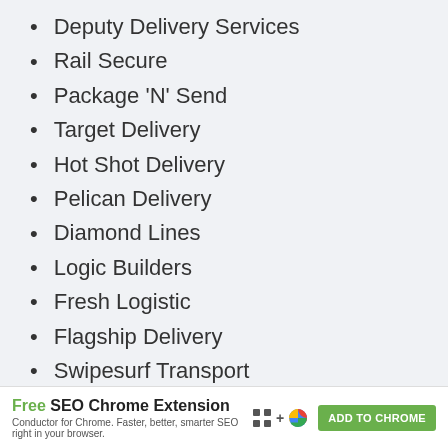Deputy Delivery Services
Rail Secure
Package 'N' Send
Target Delivery
Hot Shot Delivery
Pelican Delivery
Diamond Lines
Logic Builders
Fresh Logistic
Flagship Delivery
Swipesurf Transport
Best Delivery LLC
[Figure (other): Advertisement banner: Free SEO Chrome Extension - Conductor for Chrome. Faster, better, smarter SEO right in your browser. ADD TO CHROME button.]